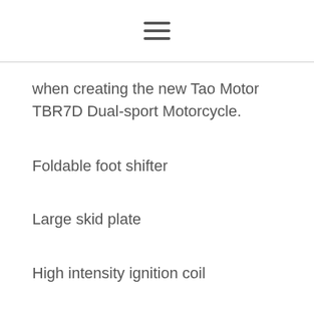☰
when creating the new Tao Motor TBR7D Dual-sport Motorcycle.
Foldable foot shifter
Large skid plate
High intensity ignition coil